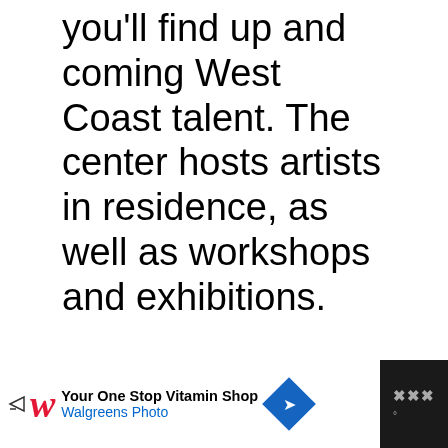you'll find up and coming West Coast talent. The center hosts artists in residence, as well as workshops and exhibitions.
[Figure (other): Slideshow image area with navigation dots, content appears blank/loading]
[Figure (other): Advertisement banner: Walgreens - Your One Stop Vitamin Shop / Walgreens Photo, with navigation icon on right]